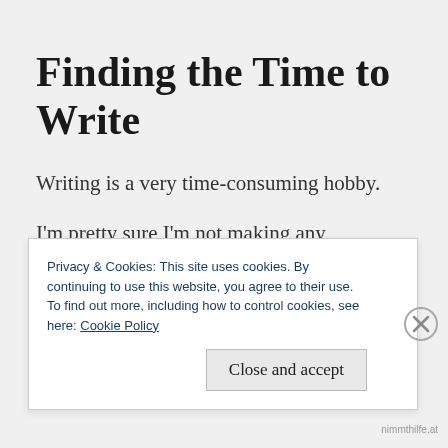Finding the Time to Write
Writing is a very time-consuming hobby.
I'm pretty sure I'm not making any groundbreaking statements by saying that. We all know that writing, like most art, demands a
Privacy & Cookies: This site uses cookies. By continuing to use this website, you agree to their use.
To find out more, including how to control cookies, see here: Cookie Policy
Close and accept